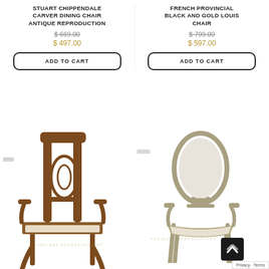STUART CHIPPENDALE CARVER DINING CHAIR ANTIQUE REPRODUCTION
$ 669.00 (strikethrough)
$ 497.00
ADD TO CART
FRENCH PROVINCIAL BLACK AND GOLD LOUIS CHAIR
$ 799.00 (strikethrough)
$ 597.00
ADD TO CART
[Figure (photo): Antique reproduction Stuart Chippendale carver dining chair with ornate carved wood back and cabriole legs, cream upholstered seat, mahogany finish.]
[Figure (photo): French Provincial black and gold Louis chair with oval upholstered back, silver/gold ornate frame, cream fabric, armrests.]